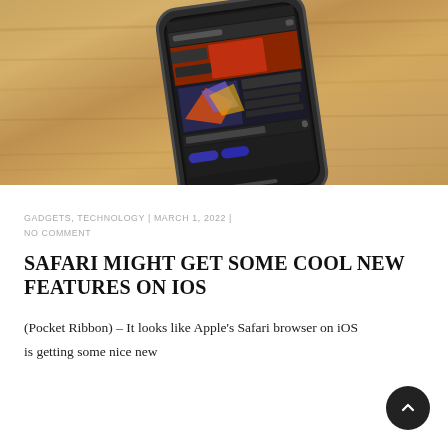[Figure (photo): A smartphone with a dark case lying on a wooden surface, screen showing a social media or news app with colorful image content]
GADGETS, TECHNOLOGY | MARCH 1, 2022 | NO COMMENT
SAFARI MIGHT GET SOME COOL NEW FEATURES ON IOS
(Pocket Ribbon) – It looks like Apple's Safari browser on iOS is getting some nice new